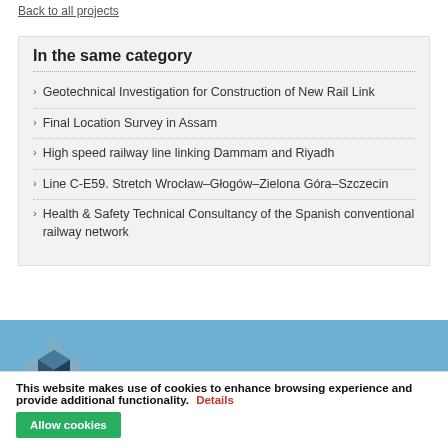Back to all projects
In the same category
Geotechnical Investigation for Construction of New Rail Link
Final Location Survey in Assam
High speed railway line linking Dammam and Riyadh
Line C-E59. Stretch Wrocław–Głogów–Zielona Góra–Szczecin
Health & Safety Technical Consultancy of the Spanish conventional railway network
[Figure (logo): Company logo — geometric cube shape in blue/grey on a light blue background]
This website makes use of cookies to enhance browsing experience and provide additional functionality.  Details  Allow cookies